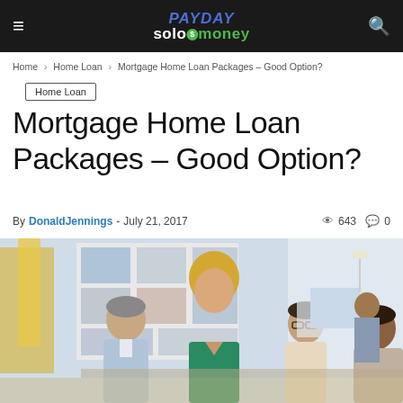PAYDAY solomoney
Home › Home Loan › Mortgage Home Loan Packages – Good Option?
Home Loan
Mortgage Home Loan Packages – Good Option?
By DonaldJennings - July 21, 2017  643  0
[Figure (photo): Office scene with a blonde woman in a green dress standing and talking to colleagues seated around a desk in a bright modern office environment.]